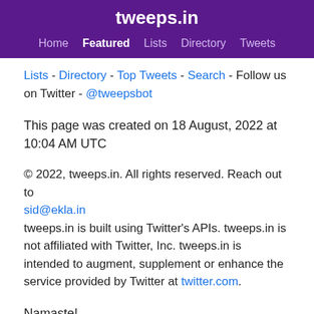tweeps.in
Home  Featured  Lists  Directory  Tweets
Lists - Directory - Top Tweets - Search - Follow us on Twitter - @tweepsbot
This page was created on 18 August, 2022 at 10:04 AM UTC
© 2022, tweeps.in. All rights reserved. Reach out to sid@ekla.in
tweeps.in is built using Twitter's APIs. tweeps.in is not affiliated with Twitter, Inc. tweeps.in is intended to augment, supplement or enhance the service provided by Twitter at twitter.com.
Namaste!